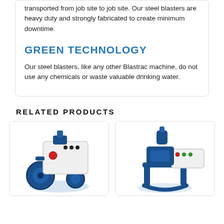transported from job site to job site. Our steel blasters are heavy duty and strongly fabricated to create minimum downtime.
GREEN TECHNOLOGY
Our steel blasters, like any other Blastrac machine, do not use any chemicals or waste valuable drinking water.
RELATED PRODUCTS
[Figure (photo): Blue and white industrial steel blaster machine, Blastrac product, angled view showing motor and wheel assembly]
[Figure (photo): Blue and white industrial steel blaster machine, Blastrac product, second model with control panel visible]